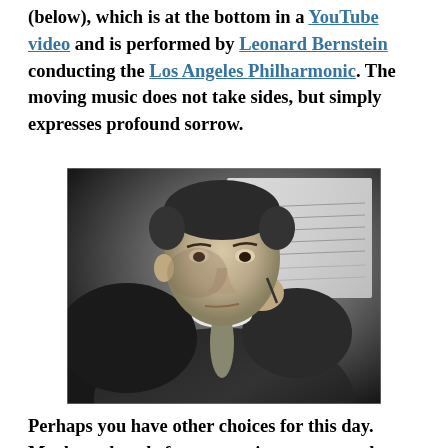(below), which is at the bottom in a YouTube video and is performed by Leonard Bernstein conducting the Los Angeles Philharmonic. The moving music does not take sides, but simply expresses profound sorrow.
[Figure (photo): Black and white portrait photograph of Leonard Bernstein seated, resting his chin/hand thoughtfully, with sheet music visible in the background]
Perhaps you have other choices for this day. Maybe a chorale from a passion or cantata by Johann